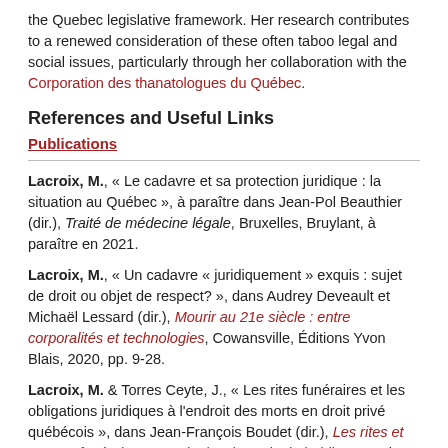the Quebec legislative framework. Her research contributes to a renewed consideration of these often taboo legal and social issues, particularly through her collaboration with the Corporation des thanatologues du Québec.
References and Useful Links
Publications
Lacroix, M., « Le cadavre et sa protection juridique : la situation au Québec », à paraître dans Jean-Pol Beauthier (dir.), Traité de médecine légale, Bruxelles, Bruylant, à paraître en 2021.
Lacroix, M., « Un cadavre « juridiquement » exquis : sujet de droit ou objet de respect? », dans Audrey Deveault et Michaël Lessard (dir.), Mourir au 21e siècle : entre corporalités et technologies, Cowansville, Éditions Yvon Blais, 2020, pp. 9-28.
Lacroix, M. & Torres Ceyte, J., « Les rites funéraires et les obligations juridiques à l'endroit des morts en droit privé québécois », dans Jean-François Boudet (dir.), Les rites et usages funéraires : essais d'anthropologie juridique, Paris, P.U.F., 2019.